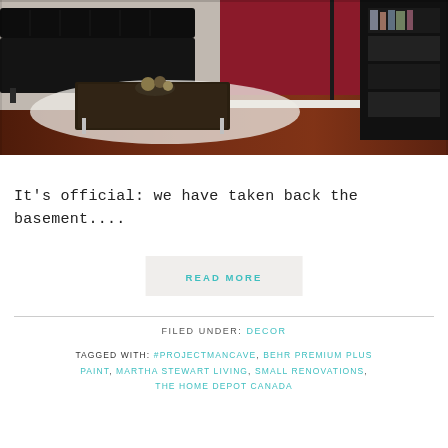[Figure (photo): Interior photo of a basement living room with black leather sofa, dark wood coffee table with decorative items, white shag rug on dark hardwood floor, black bookshelf, and deep red/burgundy accent wall.]
It's official: we have taken back the basement....
READ MORE
FILED UNDER: DECOR
TAGGED WITH: #PROJECTMANCAVE, BEHR PREMIUM PLUS PAINT, MARTHA STEWART LIVING, SMALL RENOVATIONS, THE HOME DEPOT CANADA